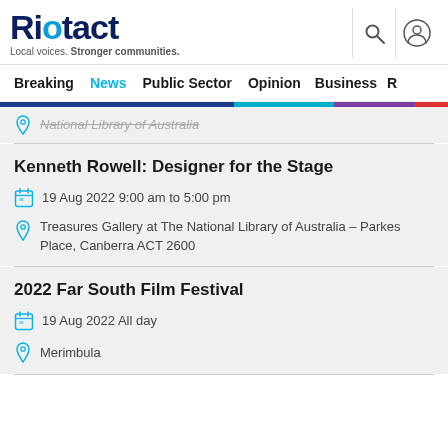Riotact - Local voices. Stronger communities.
Breaking | News | Public Sector | Opinion | Business | R
National Library of Australia
Kenneth Rowell: Designer for the Stage
19 Aug 2022 9:00 am to 5:00 pm
Treasures Gallery at The National Library of Australia - Parkes Place, Canberra ACT 2600
2022 Far South Film Festival
19 Aug 2022 All day
Merimbula